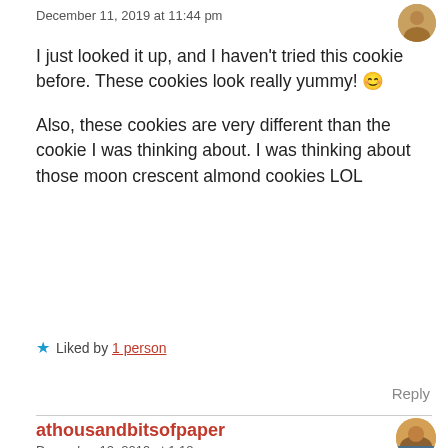December 11, 2019 at 11:44 pm
I just looked it up, and I haven't tried this cookie before. These cookies look really yummy! 😊
Also, these cookies are very different than the cookie I was thinking about. I was thinking about those moon crescent almond cookies LOL
★ Liked by 1 person
Reply
athousandbitsofpaper
December 12, 2019 at 1:18 am